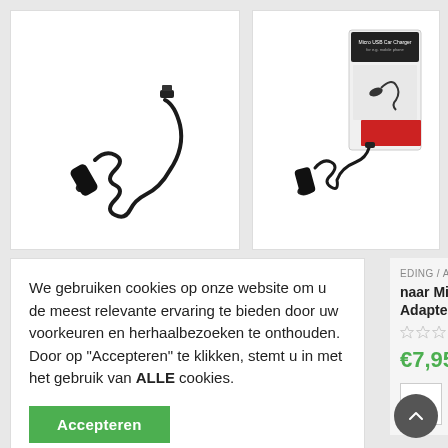[Figure (photo): Black car charger with coiled cable and micro USB connector on white background]
[Figure (photo): Black micro USB car charger with coiled cable shown next to its retail packaging (Micro USB Car Charger)]
We gebruiken cookies op onze website om u de meest relevante ervaring te bieden door uw voorkeuren en herhaalbezoeken te onthouden. Door op "Accepteren" te klikken, stemt u in met het gebruik van ALLE cookies.
Accepteren
EDING / ADAPTER
naar Micro USB-B Adapter
€7,95